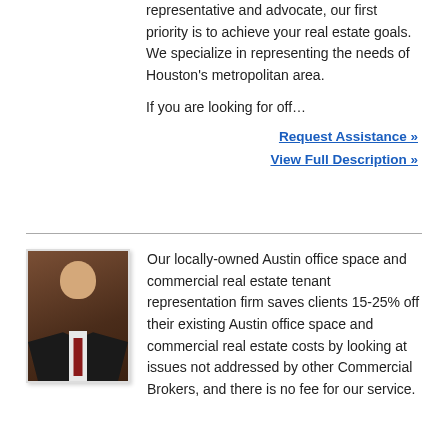representative and advocate, our first priority is to achieve your real estate goals. We specialize in representing the needs of Houston's metropolitan area.
If you are looking for off…
Request Assistance »
View Full Description »
[Figure (photo): Professional headshot of a man in a dark suit and tie against a dark background]
Our locally-owned Austin office space and commercial real estate tenant representation firm saves clients 15-25% off their existing Austin office space and commercial real estate costs by looking at issues not addressed by other Commercial Brokers, and there is no fee for our service.